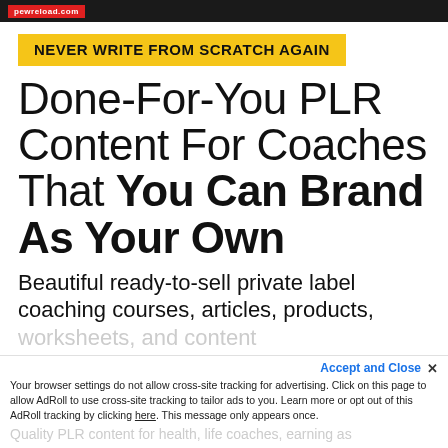pewreload.com
NEVER WRITE FROM SCRATCH AGAIN
Done-For-You PLR Content For Coaches That You Can Brand As Your Own
Beautiful ready-to-sell private label coaching courses, articles, products, worksheets, and content
Accept and Close ×
Your browser settings do not allow cross-site tracking for advertising. Click on this page to allow AdRoll to use cross-site tracking to tailor ads to you. Learn more or opt out of this AdRoll tracking by clicking here. This message only appears once.
Quality PLR content for health, life coaches, earning as